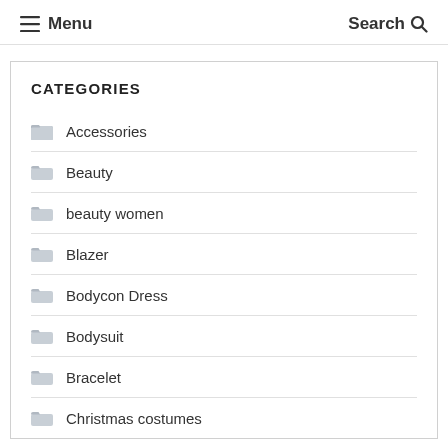Menu  Search
CATEGORIES
Accessories
Beauty
beauty women
Blazer
Bodycon Dress
Bodysuit
Bracelet
Christmas costumes